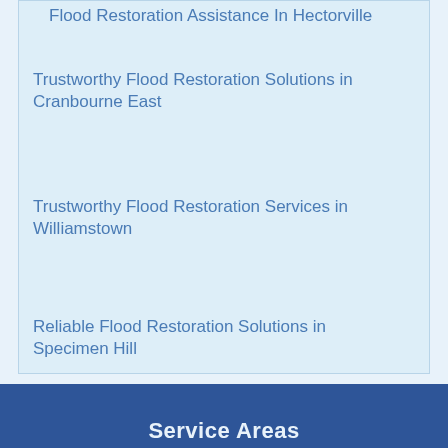Flood Restoration Assistance In Hectorville
Trustworthy Flood Restoration Solutions in Cranbourne East
Trustworthy Flood Restoration Services in Williamstown
Reliable Flood Restoration Solutions in Specimen Hill
Water Restoration Assistance In Wonglepong
Flood Restoration Assistance In Coochiemudlo
Service Areas